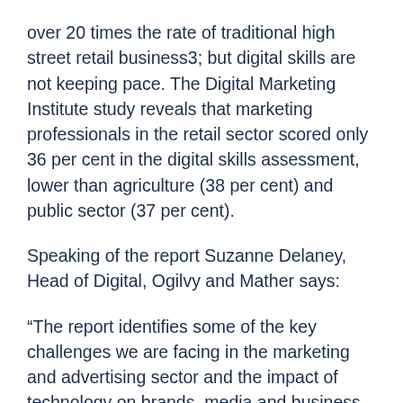over 20 times the rate of traditional high street retail business3; but digital skills are not keeping pace. The Digital Marketing Institute study reveals that marketing professionals in the retail sector scored only 36 per cent in the digital skills assessment, lower than agriculture (38 per cent) and public sector (37 per cent).
Speaking of the report Suzanne Delaney, Head of Digital, Ogilvy and Mather says:
“The report identifies some of the key challenges we are facing in the marketing and advertising sector and the impact of technology on brands, media and business. Today’s digital sector could potentially play a huge role in driving a sustained economic recovery but for this to happen it is important to think of long and short -term solutions. This includes embedding digital into business strategy, teaching digital skills and analytics, offering